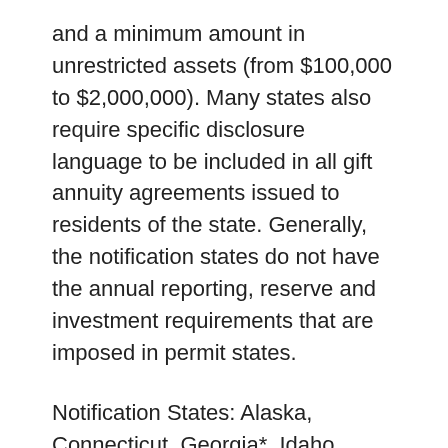and a minimum amount in unrestricted assets (from $100,000 to $2,000,000). Many states also require specific disclosure language to be included in all gift annuity agreements issued to residents of the state. Generally, the notification states do not have the annual reporting, reserve and investment requirements that are imposed in permit states.
Notification States: Alaska, Connecticut, Georgia*, Idaho, Iowa, Mississippi, Missouri, Nevada, New Hampshire*, New Mexico, North Carolina, Oklahoma*, Texas, West Virginia *Annual reporting required.